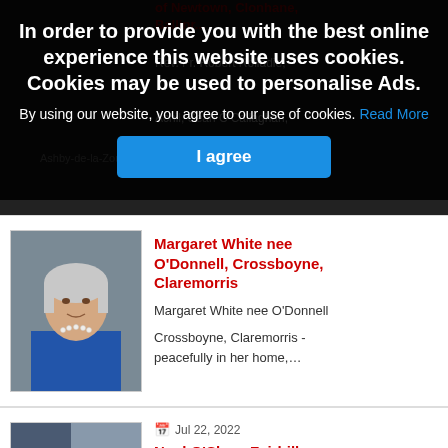In order to provide you with the best online experience this website uses cookies. Cookies may be used to personalise Ads.
By using our website, you agree to our use of cookies. Read More
I agree
[Figure (photo): Portrait photo of an elderly woman with grey hair, wearing a blue jacket and pearl necklace]
Margaret White nee O'Donnell, Crossboyne, Claremorris
Margaret White nee O'Donnell
Crossboyne, Claremorris  - peacefully in her home,...
[Figure (photo): Portrait photo of an older man with grey/white hair, wearing a light blue/purple checked shirt, outdoors]
Jul 22, 2022
Noel O'Shea, Fairhill, Islandeady, Castlebar
Noel O'Shea,
Fairhill, Islandeady, Castlebar (July 21st 2022) - peacefully at Mayo